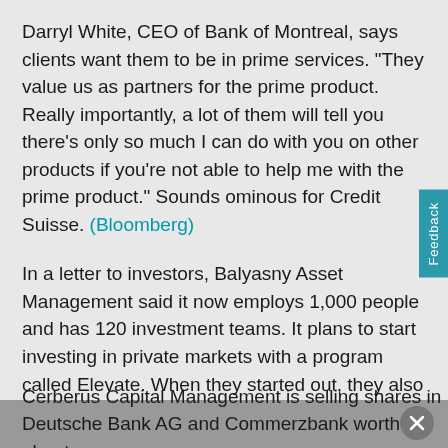Darryl White, CEO of Bank of Montreal, says clients want them to be in prime services. "They value us as partners for the prime product. Really importantly, a lot of them will tell you there's only so much I can do with you on other products if you're not able to help me with the prime product." Sounds ominous for Credit Suisse. (Bloomberg)
In a letter to investors, Balyasny Asset Management said it now employs 1,000 people and has 120 investment teams. It plans to start investing in private markets with a program called Elevate. When they started out, they also said they attended a meeting with Goldman Sachs wearing shorts. (Business Insider)
RBC Capital Markets hired Ian Devine from NatWest to head European loan trading. (The Trade News)
Cerberus Capital Management is selling shares in Deutsche Bank AG and Commerzbank worth about